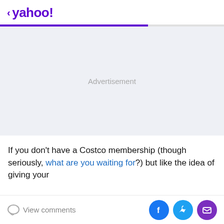< yahoo!
[Figure (other): Advertisement placeholder area with light gray background and centered 'Advertisement' label]
If you don't have a Costco membership (though seriously, what are you waiting for?) but like the idea of giving your
View comments | Facebook share | Twitter share | Email share